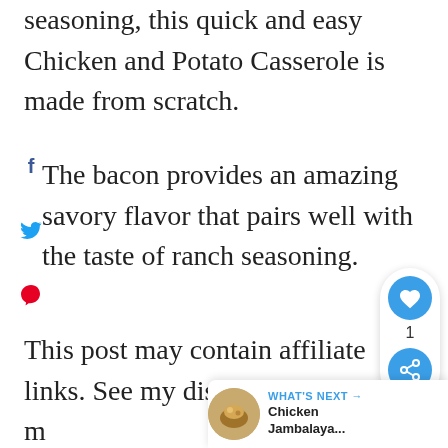seasoning, this quick and easy Chicken and Potato Casserole is made from scratch.
The bacon provides an amazing savory flavor that pairs well with the taste of ranch seasoning.
This post may contain affiliate links. See my disclosure policy for m...
[Figure (other): Social sharing widget with heart icon, count of 1, and share icon on right side]
[Figure (other): What's Next overlay with thumbnail of Chicken Jambalaya dish and text 'WHAT'S NEXT → Chicken Jambalaya...']